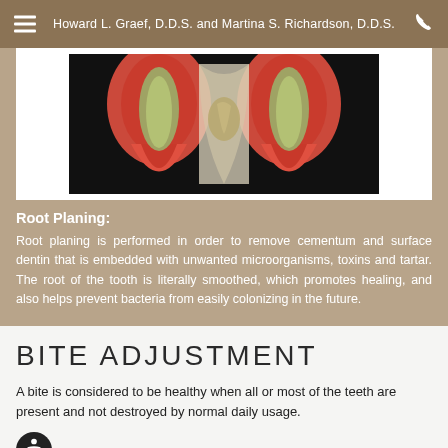Howard L. Graef, D.D.S. and Martina S. Richardson, D.D.S.
[Figure (photo): Dental cross-section illustration showing two tooth roots (red/pink gum tissue on dark background with visible root anatomy and tartar/buildup between roots)]
Root Planing:
Root planing is performed in order to remove cementum and surface dentin that is embedded with unwanted microorganisms, toxins and tartar. The root of the tooth is literally smoothed, which promotes healing, and also helps prevent bacteria from easily colonizing in the future.
BITE ADJUSTMENT
A bite is considered to be healthy when all or most of the teeth are present and not destroyed by normal daily usage.
It is destructive when teeth show wear, looseness or when TMJ (joint) damage is seen. Bite therapy helps restore a bite that can function without damage and destruction. This therapy